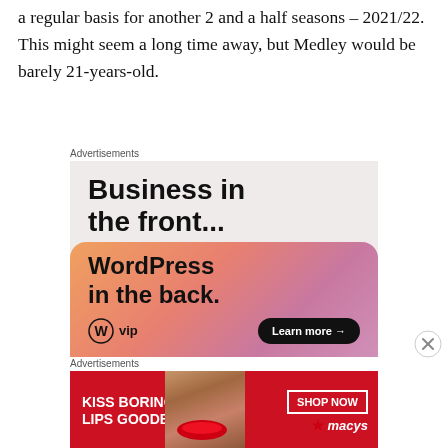a regular basis for another 2 and a half seasons – 2021/22. This might seem a long time away, but Medley would be barely 21-years-old.
Advertisements
[Figure (infographic): WordPress VIP advertisement: 'Business in the front...' text on light background, 'WordPress in the back.' text on gradient orange-pink background, with WordPress VIP logo and 'Learn more →' button]
Advertisements
[Figure (infographic): Macy's advertisement showing 'KISS BORING LIPS GOODBYE' text with model face and red lips, with 'SHOP NOW' button and Macy's star logo on red background]